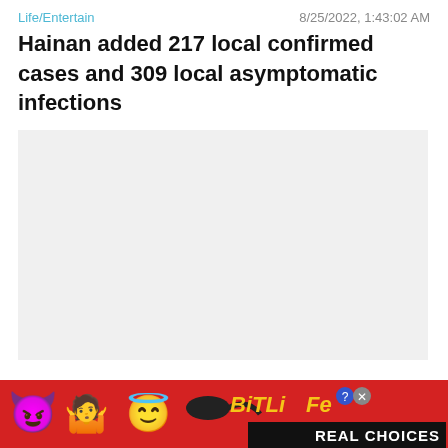Life/Entertain   8/25/2022, 1:43:02 AM
Hainan added 217 local confirmed cases and 309 local asymptomatic infections
[Figure (photo): Gray placeholder image for article photo]
Life/Entertain   8/25/2022, 1:37:08 AM
Maritime Submarine Collision Caused by Inadequate Situation Grasp by Sonar Japan Transport Safety Board
[Figure (photo): BitLife Real Choices advertisement banner with emoji characters]